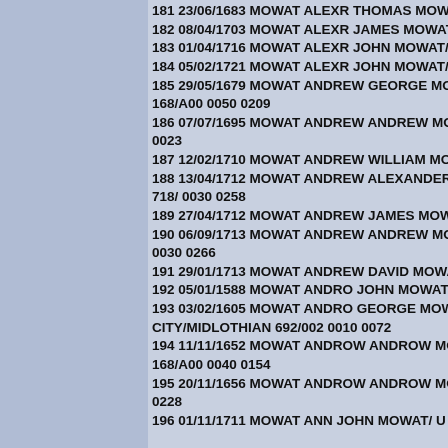181 23/06/1683 MOWAT ALEXR THOMAS MOWAT OR MCALIST
182 08/04/1703 MOWAT ALEXR JAMES MOWAT/ U Monquhitter
183 01/04/1716 MOWAT ALEXR JOHN MOWAT/EFFY SMITH M
184 05/02/1721 MOWAT ALEXR JOHN MOWAT/ U Wick /CAITH
185 29/05/1679 MOWAT ANDREW GEORGE MOWAT/MARJOR
168/A00 0050 0209
186 07/07/1695 MOWAT ANDREW ANDREW MOWAT/JENET CR
0023
187 12/02/1710 MOWAT ANDREW WILLIAM MOWAT/ELSPET M
188 13/04/1712 MOWAT ANDREW ALEXANDER MOWAT/BARB
718/ 0030 0258
189 27/04/1712 MOWAT ANDREW JAMES MOWAT/ANNA LAWC
190 06/09/1713 MOWAT ANDREW ANDREW MOWAT/KATHERI
0030 0266
191 29/01/1713 MOWAT ANDREW DAVID MOWAT/ M St Fergus
192 05/01/1588 MOWAT ANDRO JOHN MOWAT/ U Dysart /FIFE
193 03/02/1605 MOWAT ANDRO GEORGE MOWAT/JONET BAL
CITY/MIDLOTHIAN 692/002 0010 0072
194 11/11/1652 MOWAT ANDROW ANDROW MOWAT/AGNES B
168/A00 0040 0154
195 20/11/1656 MOWAT ANDROW ANDROW MOWAT/JANET S.
0228
196 01/11/1711 MOWAT ANN JOHN MOWAT/ U Auchterless /AB